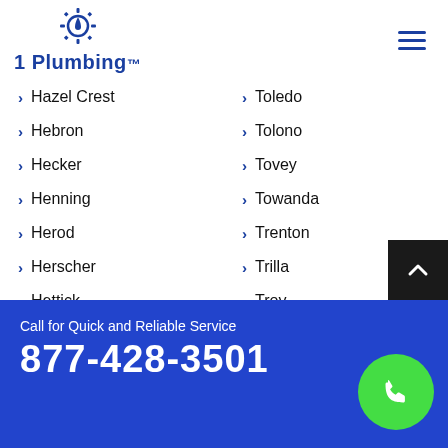1 Plumbing
Hazel Crest
Toledo
Hebron
Tolono
Hecker
Tovey
Henning
Towanda
Herod
Trenton
Herscher
Trilla
Hettick
Troy
Heyworth
Tuscola
Hickory Hills
Union
Highland
Union Hill
Highland Park
University Park
Call for Quick and Reliable Service
877-428-3501